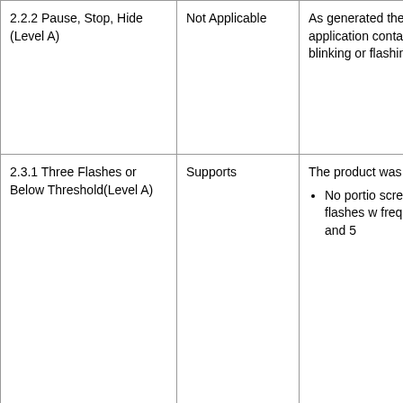| 2.2.2 Pause, Stop, Hide (Level A) | Not Applicable | As generated the de application contains blinking or flashing c |
| 2.3.1 Three Flashes or Below Threshold(Level A) | Supports | The product was tes
• No portio screen fli flashes w frequenc Hz and 5 |
| 2.4.1 Bypass Blocks(Level A) | Not Applicable | As generated the de application does not repeated page conte pages therefore the for a means to skip |
|  |  | The product was tes
• Pages ha meaning specified |